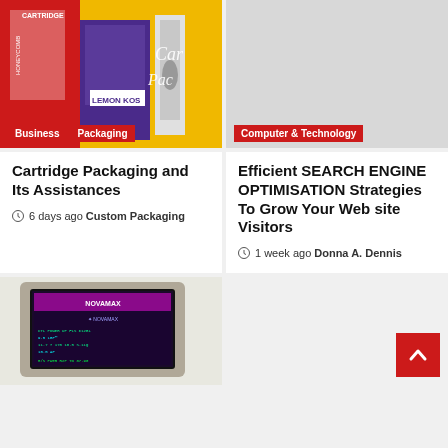[Figure (photo): Cartridge packaging products on yellow/purple background with LEMON KUSH branding]
[Figure (photo): Gray placeholder image for Computer & Technology article]
Cartridge Packaging and Its Assistances
6 days ago  Custom Packaging
Efficient SEARCH ENGINE OPTIMISATION Strategies To Grow Your Web site Visitors
1 week ago  Donna A. Dennis
[Figure (photo): Old Novamax computer monitor/terminal with green text display screen]
[Figure (other): Gray area with red back-to-top arrow button]